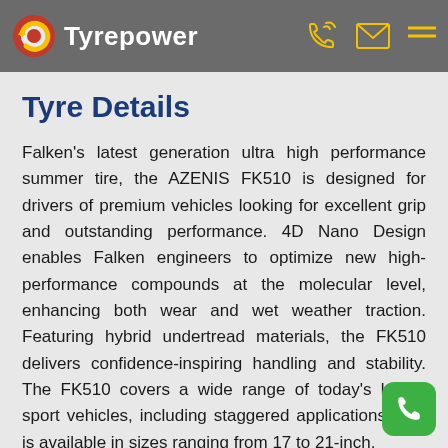Tyrepower
Tyre Details
Falken's latest generation ultra high performance summer tire, the AZENIS FK510 is designed for drivers of premium vehicles looking for excellent grip and outstanding performance. 4D Nano Design enables Falken engineers to optimize new high-performance compounds at the molecular level, enhancing both wear and wet weather traction. Featuring hybrid undertread materials, the FK510 delivers confidence-inspiring handling and stability. The FK510 covers a wide range of today's luxury sport vehicles, including staggered applications, and is available in sizes ranging from 17 to 21-inch.
Key Features